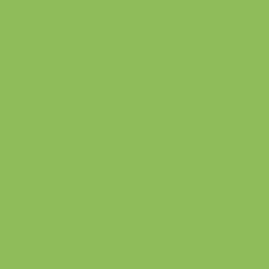| Code | Detail | Date |
| --- | --- | --- |
| RENTL | Phase: Production → Wrap | Oct 16, 2019 |
| SAMTN | IPO | Oct 16, 2019 |
| SAMTN | Title: Samaritan | Oct 16, 2019 |
| SAMTN | Release: Nov 20, 2020 | Oct 16, 2019 |
| SAMTN | Distributor: MGM | Oct 16, 2019 |
| SAMTN | Phase: Development | Oct 16, 2019 |
| SCNDL | IPO | Oct 16, 2019 |
| SCNDL | Title: Scandalous | Oct 16, 2019 |
| SCNDL | Release: Nov 15, 2019 | Oct 16, 2019 |
| SCNDL | Distributor: Magnolia | Oct 16, 2019 |
| SCNDL | ... | Oct 16,... |